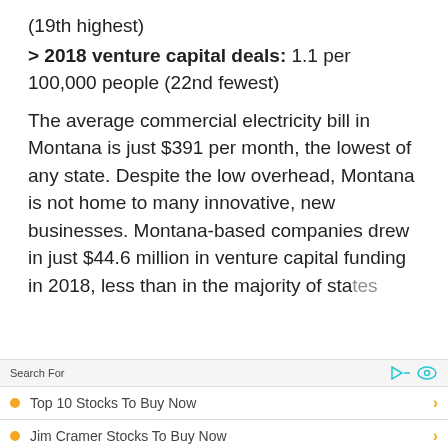(19th highest)
> 2018 venture capital deals: 1.1 per 100,000 people (22nd fewest)
The average commercial electricity bill in Montana is just $391 per month, the lowest of any state. Despite the low overhead, Montana is not home to many innovative, new businesses. Montana-based companies drew in just $44.6 million in venture capital funding in 2018, less than in the majority of states
Search For
Top 10 Stocks To Buy Now
Jim Cramer Stocks To Buy Now